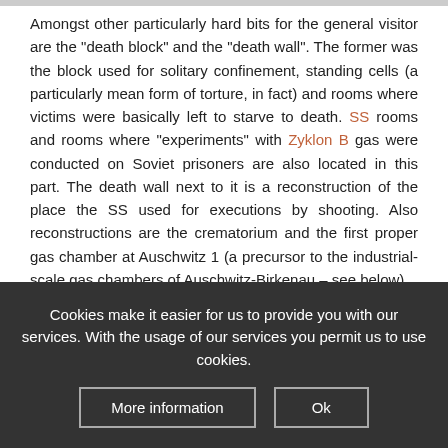Amongst other particularly hard bits for the general visitor are the "death block" and the "death wall". The former was the block used for solitary confinement, standing cells (a particularly mean form of torture, in fact) and rooms where victims were basically left to starve to death. SS rooms and rooms where "experiments" with Zyklon B gas were conducted on Soviet prisoners are also located in this part. The death wall next to it is a reconstruction of the place the SS used for executions by shooting. Also reconstructions are the crematorium and the first proper gas chamber at Auschwitz 1 (a precursor to the industrial-scale gas chambers of Auschwitz-Birkenau – see below).
Finally: outside there's the place where the infamous camp
Cookies make it easier for us to provide you with our services. With the usage of our services you permit us to use cookies.